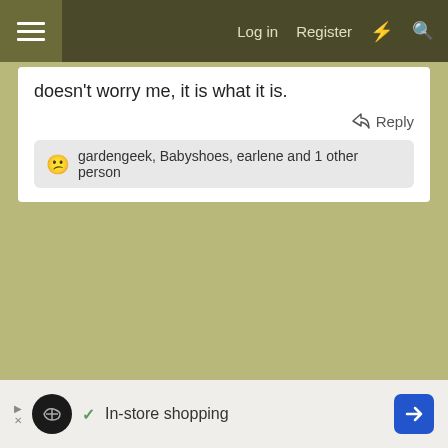Log in  Register
doesn't worry me, it is what it is.
Reply
gardengeek, Babyshoes, earlene and 1 other person
In-store shopping